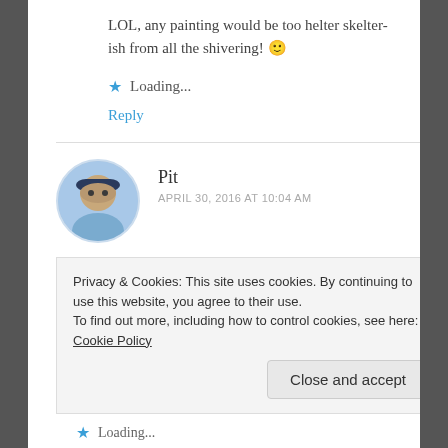LOL, any painting would be too helter skelter-ish from all the shivering! 🙂
★ Loading...
Reply
Pit
APRIL 30, 2016 AT 10:04 AM
Well, maybe the groundhog was a southern
Privacy & Cookies: This site uses cookies. By continuing to use this website, you agree to their use.
To find out more, including how to control cookies, see here: Cookie Policy
Close and accept
★ Loading...